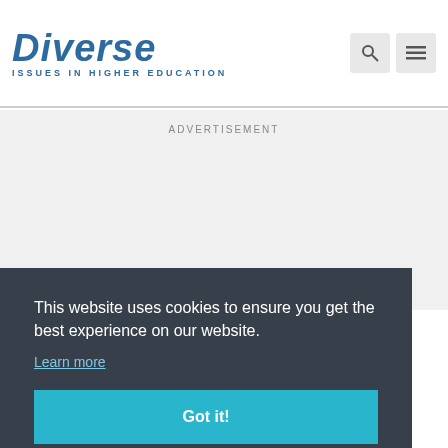Diverse: ISSUES IN HIGHER EDUCATION
ADVERTISEMENT
This website uses cookies to ensure you get the best experience on our website. Learn more
Got it!
FACULTY & STAFF